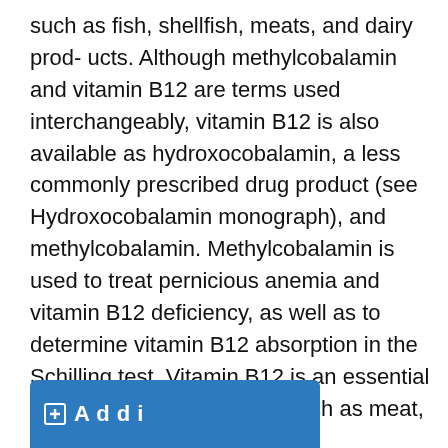such as fish, shellfish, meats, and dairy prod- ucts. Although methylcobalamin and vitamin B12 are terms used interchangeably, vitamin B12 is also available as hydroxocobalamin, a less commonly prescribed drug product (see Hydroxocobalamin monograph), and methylcobalamin. Methylcobalamin is used to treat pernicious anemia and vitamin B12 deficiency, as well as to determine vitamin B12 absorption in the Schilling test. Vitamin B12 is an essential vitamin found in the foods such as meat, eggs, and dairy products.
[Figure (other): Partial blue header/button element at bottom of page, partially cut off, showing a white icon and beginning of bold white text starting with 'A']